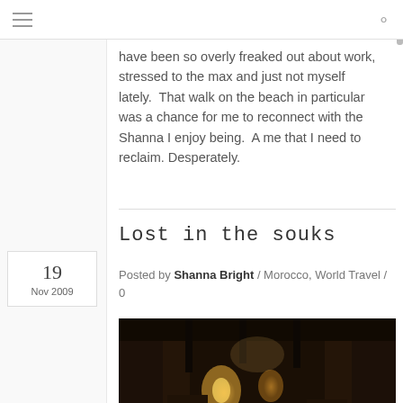have been so overly freaked out about work, stressed to the max and just not myself lately.  That walk on the beach in particular was a chance for me to reconnect with the Shanna I enjoy being.  A me that I need to reclaim. Desperately.
Lost in the souks
Posted by Shanna Bright / Morocco, World Travel / 0
[Figure (photo): Dark atmospheric photo of a market alleyway (souks) at night with warm lamp light visible]